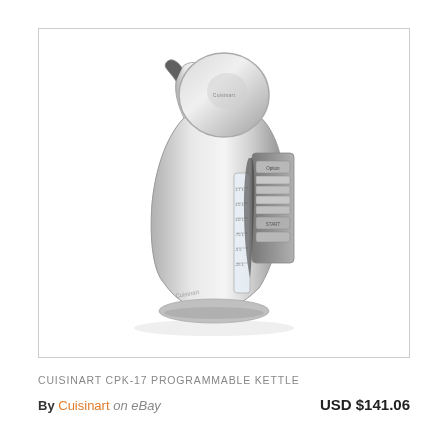[Figure (photo): Cuisinart CPK-17 programmable electric kettle in stainless steel finish with round lid, digital control panel with temperature buttons and START button, and visible water level window on the side.]
CUISINART CPK-17 PROGRAMMABLE KETTLE
By Cuisinart on eBay   USD $141.06